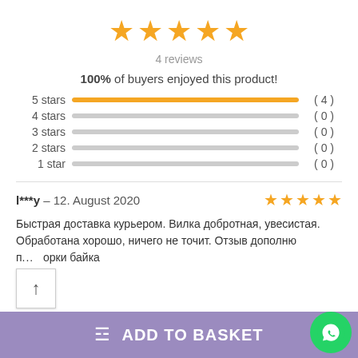[Figure (other): 5 yellow star rating icons in a row]
4 reviews
100% of buyers enjoyed this product!
[Figure (bar-chart): Star rating distribution]
l***y – 12. August 2020
Быстрая доставка курьером. Вилка добротная, увесистая. Обработана хорошо, ничего не точит. Отзыв дополню п... орки байка
ADD TO BASKET